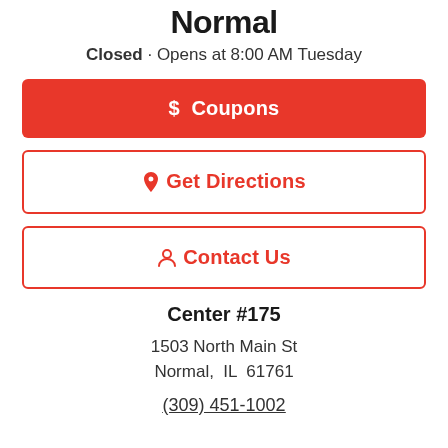Normal
Closed · Opens at 8:00 AM Tuesday
$ Coupons
Get Directions
Contact Us
Center #175
1503 North Main St
Normal, IL  61761
(309) 451-1002